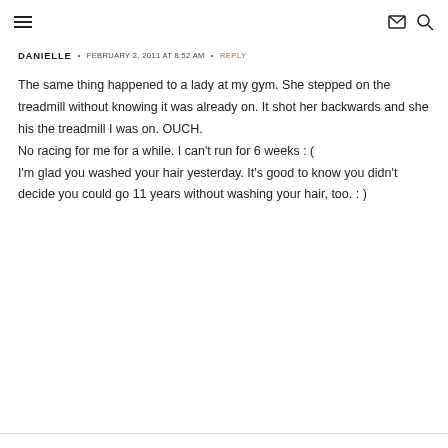≡ [menu icon] [mail icon] [search icon]
DANIELLE • FEBRUARY 2, 2011 AT 8:52 AM • REPLY
The same thing happened to a lady at my gym. She stepped on the treadmill without knowing it was already on. It shot her backwards and she his the treadmill I was on. OUCH.
No racing for me for a while. I can't run for 6 weeks : (
I'm glad you washed your hair yesterday. It's good to know you didn't decide you could go 11 years without washing your hair, too. : )